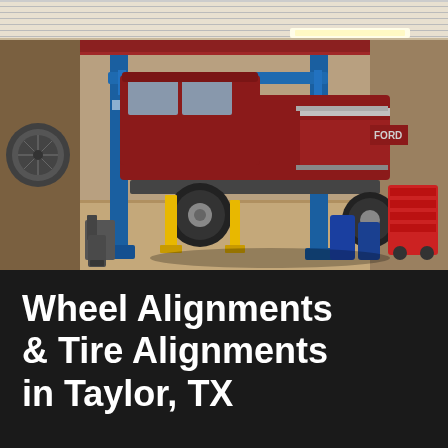[Figure (photo): Interior of an auto repair garage showing a dark red Ford pickup truck elevated on a blue two-post hydraulic lift. The shop has a concrete floor, metal ceiling, fluorescent lighting, blue steel columns, yellow lift arms, blue oil drums, and a red service cart. Various tools and equipment are visible in the background.]
Wheel Alignments & Tire Alignments in Taylor, TX